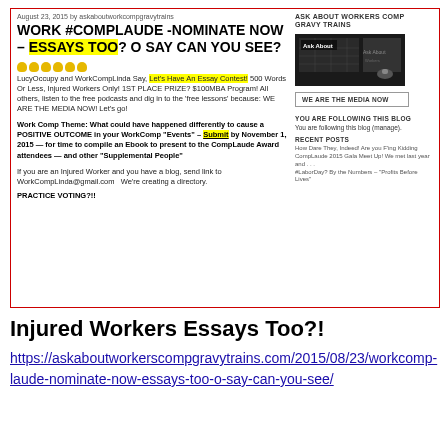August 23, 2015 by askaboutworkcompgravytrains
WORK #COMPLAUDE -NOMINATE NOW – ESSAYS TOO? O SAY CAN YOU SEE?
LucyOccupy and WorkCompLinda Say, Let's Have An Essay Contest! 500 Words Or Less, Injured Workers Only! 1ST PLACE PRIZE? $100MBA Program! All others, listen to the free podcasts and dig in to the 'free lessons' because: WE ARE THE MEDIA NOW! Let's go!
Work Comp Theme: What could have happened differently to cause a POSITIVE OUTCOME in your WorkComp "Events" – Submit by November 1, 2015 — for time to compile an Ebook to present to the CompLaude Award attendees — and other "Supplemental People"
If you are an Injured Worker and you have a blog, send link to WorkCompLinda@gmail.com   We're creating a directory.
PRACTICE VOTING?!!
ASK ABOUT WORKERS COMP GRAVY TRAINS
[Figure (screenshot): Blog sidebar image with 'Ask About' text overlay on dark background]
WE ARE THE MEDIA NOW
YOU ARE FOLLOWING THIS BLOG
You are following this blog (manage).
RECENT POSTS
How Dare They, Indeed! Are you F'ing Kidding
CompLaude 2015 Gala Meet Up! We met last year and . . .
#LaborDay? By the Numbers – 'Profits Before Lives'
Injured Workers Essays Too?!
https://askaboutworkerscompgravytrains.com/2015/08/23/workcomp-laude-nominate-now-essays-too-o-say-can-you-see/